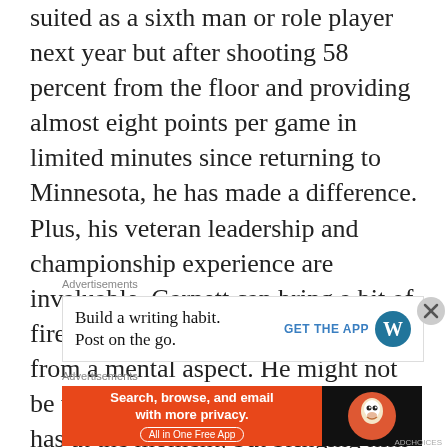suited as a sixth man or role player next year but after shooting 58 percent from the floor and providing almost eight points per game in limited minutes since returning to Minnesota, he has made a difference. Plus, his veteran leadership and championship experience are invaluable. Garnett can bring a bit of fire to this team and improve them from a mental aspect. He might not be worth the $12 million price tag he has at the moment, but bringing him back would be a smart move.
Advertisements
[Figure (other): Advertisement: Build a writing habit. Post on the go. GET THE APP [WordPress logo]]
Advertisements
[Figure (other): DuckDuckGo advertisement: Search, browse, and email with more privacy. All in One Free App]
ADCHOICES